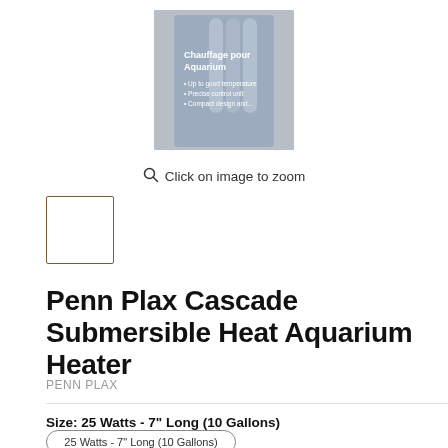[Figure (photo): Product photo of Penn Plax Cascade Submersible Aquarium Heater packaging, showing white tubular heater against blue/gray product packaging background with French text 'Chauffage pour Aquarium']
Click on image to zoom
[Figure (photo): Small thumbnail image placeholder with brown border outline]
Penn Plax Cascade Submersible Heat Aquarium Heater
PENN PLAX
Size: 25 Watts - 7" Long (10 Gallons)